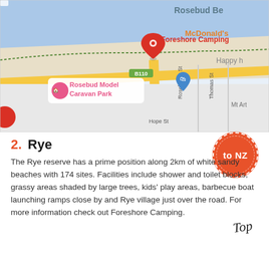[Figure (map): Google Maps screenshot showing Foreshore Camping location near Rosebud Beach, with Rosebud Model Caravan Park, McDonald's, Hope St, Rosebrook St, Thomas St visible. A red pin marks Foreshore Camping on road B110.]
2. Rye
The Rye reserve has a prime position along 2km of white sandy beaches with 174 sites. Facilities include shower and toilet blocks, grassy areas shaded by large trees, kids' play areas, barbecue boat launching ramps close by and Rye village just over the road. For more information check out Foreshore Camping.